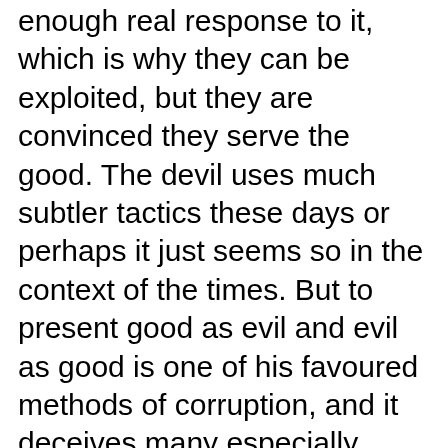enough real response to it, which is why they can be exploited, but they are convinced they serve the good. The devil uses much subtler tactics these days or perhaps it just seems so in the context of the times. But to present good as evil and evil as good is one of his favoured methods of corruption, and it deceives many especially when the full force of public discourse is behind it as is usually the case these days.
Let's end on a positive note. It seems to me that as the official line on what reality is becomes more absurd and